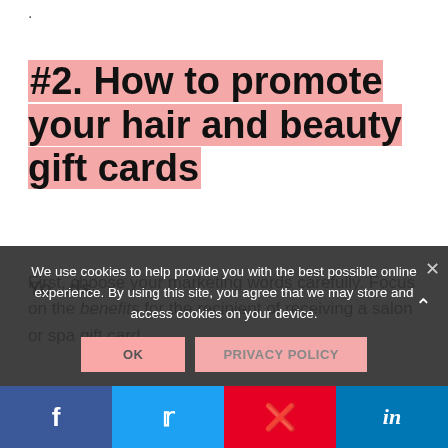.
#2. How to promote your hair and beauty gift cards
First, choose your marketing words carefully. Focus on the benefits for the recipient of receiving a salon or spa gift card.
We use cookies to help provide you with the best possible online experience. By using this site, you agree that we may store and access cookies on your device.
You ... ds
f  Twitter  Pinterest  in